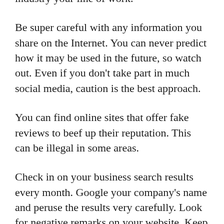industry your line of work.
Be super careful with any information you share on the Internet. You can never predict how it may be used in the future, so watch out. Even if you don't take part in much social media, caution is the best approach.
You can find online sites that offer fake reviews to beef up their reputation. This can be illegal in some areas.
Check in on your business search results every month. Google your company's name and peruse the results very carefully. Look for negative remarks on your website. Keep track of negative content and sources. Do whatever you must to find the wrong.
Don't respond in a rush when defending your firm.Be sure you know what the whole situation is about before answering. Look up facts you need to know to back up